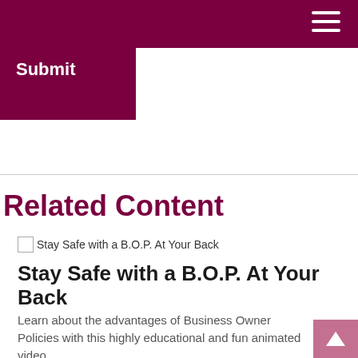Submit
Related Content
[Figure (illustration): Broken image placeholder for 'Stay Safe with a B.O.P. At Your Back' article thumbnail]
Stay Safe with a B.O.P. At Your Back
Learn about the advantages of Business Owner Policies with this highly educational and fun animated video.